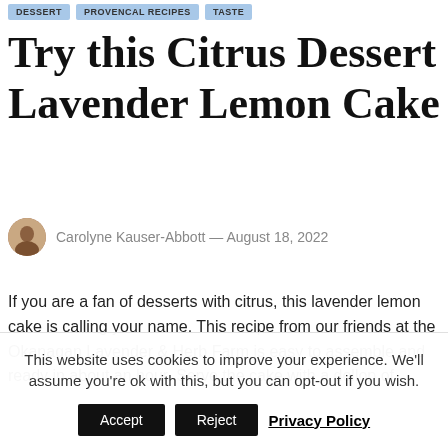DESSERT · PROVENCAL RECIPES · TASTE
Try this Citrus Dessert Lavender Lemon Cake
Carolyne Kauser-Abbott — August 18, 2022
If you are a fan of desserts with citrus, this lavender lemon cake is calling your name. This recipe from our friends at the Okanagan Lavender & Herb Farm is easy to assemble and ready in about an hour. Serve the cake with a dollop of
This website uses cookies to improve your experience. We'll assume you're ok with this, but you can opt-out if you wish.
Accept  Reject  Privacy Policy